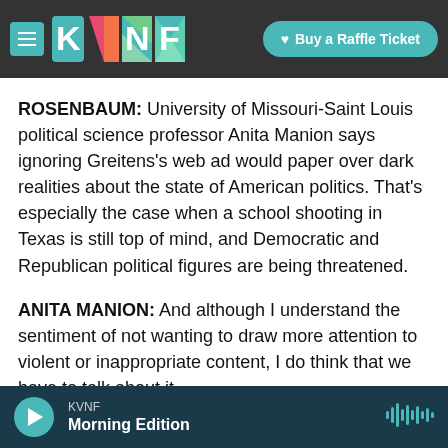KVNF — Buy a Raffle Ticket
ROSENBAUM: University of Missouri-Saint Louis political science professor Anita Manion says ignoring Greitens's web ad would paper over dark realities about the state of American politics. That's especially the case when a school shooting in Texas is still top of mind, and Democratic and Republican political figures are being threatened.
ANITA MANION: And although I understand the sentiment of not wanting to draw more attention to violent or inappropriate content, I do think that we have to talk about it.
KVNF — Morning Edition